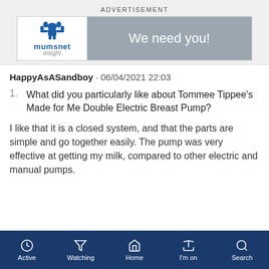ADVERTISEMENT
[Figure (illustration): Mumsnet Insight advertisement banner: left side shows mumsnet logo with crown illustration on white background, right side shows grey background with text 'We need you!']
HappyAsASandboy · 06/04/2021 22:03
1. What did you particularly like about Tommee Tippee's Made for Me Double Electric Breast Pump?
I like that it is a closed system, and that the parts are simple and go together easily. The pump was very effective at getting my milk, compared to other electric and manual pumps.
Active   Watching   Home   I'm on   Search